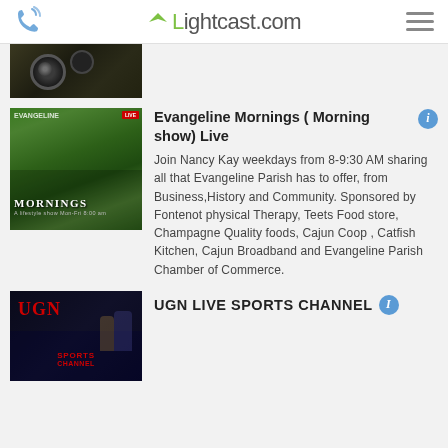Lightcast.com
[Figure (photo): Partial thumbnail of a dark, blurry camera/equipment image cropped at top]
[Figure (photo): Evangeline Mornings show thumbnail — green forest background with MORNINGS text overlay and red badge]
Evangeline Mornings ( Morning show) Live
Join Nancy Kay weekdays from 8-9:30 AM sharing all that Evangeline Parish has to offer, from Business,History and Community. Sponsored by Fontenot physical Therapy, Teets Food store, Champagne Quality foods, Cajun Coop , Catfish Kitchen, Cajun Broadband and Evangeline Parish Chamber of Commerce.
[Figure (photo): UGN Live Sports Channel thumbnail — dark background with red UGN logo and SPORTS CHANNEL text]
UGN LIVE SPORTS CHANNEL